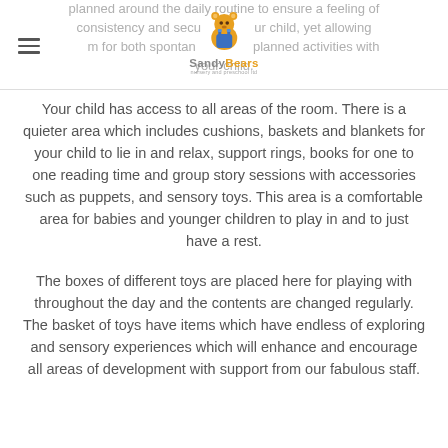planned around the daily routine to ensure a feeling of consistency and security for your child, yet allowing room for both spontaneous and planned activities with your child.
Your child has access to all areas of the room. There is a quieter area which includes cushions, baskets and blankets for your child to lie in and relax, support rings, books for one to one reading time and group story sessions with accessories such as puppets, and sensory toys. This area is a comfortable area for babies and younger children to play in and to just have a rest.
The boxes of different toys are placed here for playing with throughout the day and the contents are changed regularly. The basket of toys have items which have endless of exploring and sensory experiences which will enhance and encourage all areas of development with support from our fabulous staff.